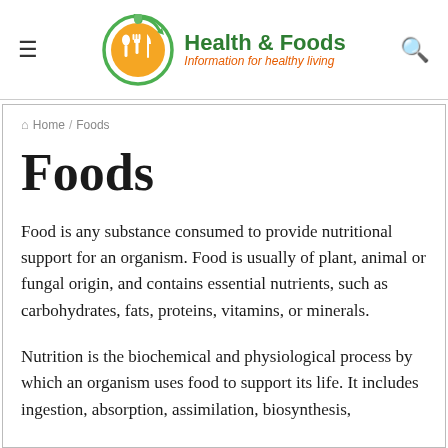Health & Foods — Information for healthy living
Home / Foods
Foods
Food is any substance consumed to provide nutritional support for an organism. Food is usually of plant, animal or fungal origin, and contains essential nutrients, such as carbohydrates, fats, proteins, vitamins, or minerals.
Nutrition is the biochemical and physiological process by which an organism uses food to support its life. It includes ingestion, absorption, assimilation, biosynthesis,